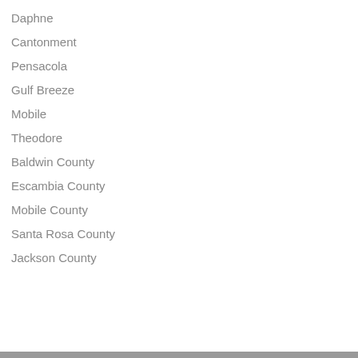Daphne
Cantonment
Pensacola
Gulf Breeze
Mobile
Theodore
Baldwin County
Escambia County
Mobile County
Santa Rosa County
Jackson County